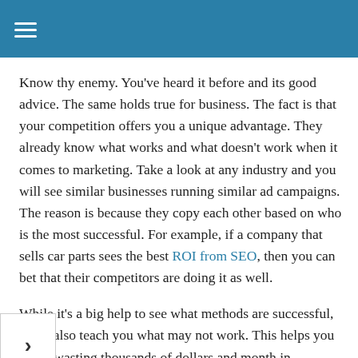Know thy enemy. You've heard it before and its good advice. The same holds true for business. The fact is that your competition offers you a unique advantage. They already know what works and what doesn't work when it comes to marketing. Take a look at any industry and you will see similar businesses running similar ad campaigns. The reason is because they copy each other based on who is the most successful. For example, if a company that sells car parts sees the best ROI from SEO, then you can bet that their competitors are doing it as well.
While it's a big help to see what methods are successful, it can also teach you what may not work. This helps you avoid wasting thousands of dollars and month in campaigns that will not work. Not every method is going to work great for every company and it really depends on your industry. For example, if you own a car dealership then email, social media, display and banner ads may be best for you.